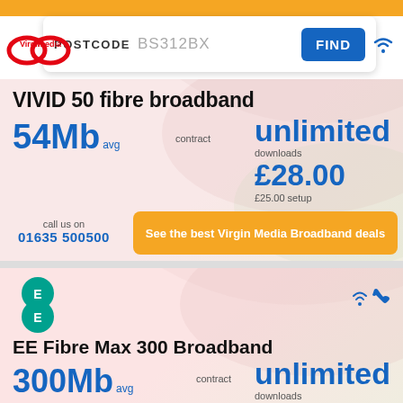[Figure (screenshot): Top orange navigation bar]
[Figure (screenshot): Postcode search bar showing BS312BX with FIND button]
[Figure (logo): Virgin Media logo]
VIVID 50 fibre broadband
54Mb avg | contract | unlimited downloads | £28.00 | £25.00 setup
call us on
01635 500500
See the best Virgin Media Broadband deals
[Figure (logo): EE logo - green circle with EE letters]
EE Fibre Max 300 Broadband
300Mb avg | contract | unlimited downloads | £47.00